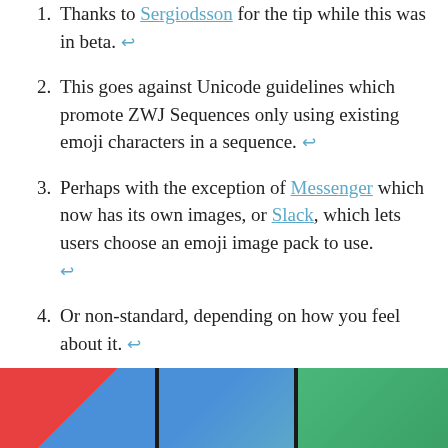Thanks to Sergiodsson for the tip while this was in beta. ↩
This goes against Unicode guidelines which promote ZWJ Sequences only using existing emoji characters in a sequence. ↩
Perhaps with the exception of Messenger which now has its own images, or Slack, which lets users choose an emoji image pack to use. ↩
Or non-standard, depending on how you feel about it. ↩
This proposal seeks to add emoji flags for England, Scotland and Wales. ↩
[Figure (illustration): Footer bar with three colored sections: red/blue diagonal on left, blue gradient in middle, green gradient on right, all on dark background]